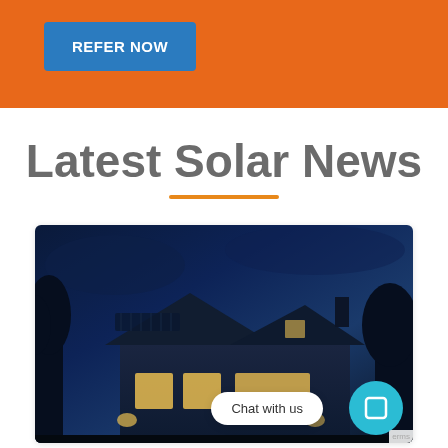REFER NOW
Latest Solar News
[Figure (photo): Night-time photo of a modern house with solar panels on the roof, illuminated windows, trees in the background, and a dark blue sky. Overlaid with a 'Chat with us' speech bubble and a teal chat button icon.]